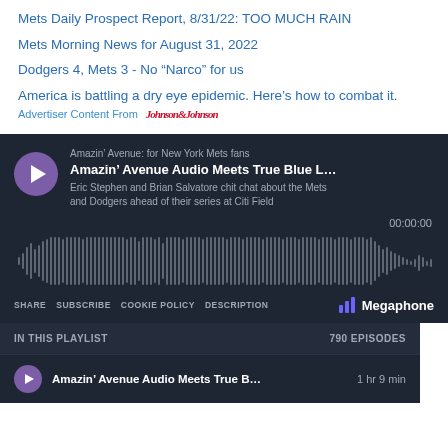Mets Daily Prospect Report, 8/31/22: TOO MUCH RAIN
Mets Morning News for August 31, 2022
Dodgers 4, Mets 3 - No “Narco” for us
America is battling a dry eye epidemic. Here’s how to combat it.
Advertiser Content From Johnson & Johnson
[Figure (screenshot): Megaphone podcast player widget showing 'Amazin' Avenue Audio Meets True Blue L...' episode with waveform, controls (SHARE, SUBSCRIBE, COOKIE POLICY, DESCRIPTION), and playlist section showing IN THIS PLAYLIST / 790 EPISODES and a playlist item 'Amazin' Avenue Audio Meets True B... 1 hr 9 min']